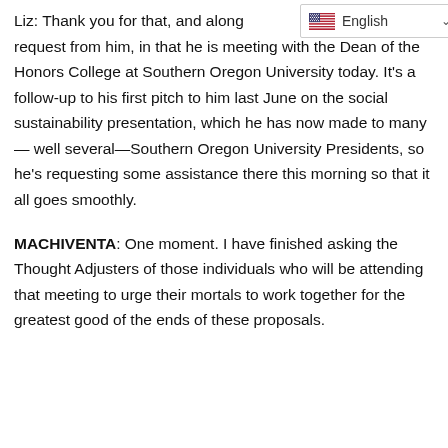Liz: Thank you for that, and along [English language widget] ate request from him, in that he is meeting with the Dean of the Honors College at Southern Oregon University today. It's a follow-up to his first pitch to him last June on the social sustainability presentation, which he has now made to many—well several—Southern Oregon University Presidents, so he's requesting some assistance there this morning so that it all goes smoothly.
MACHIVENTA: One moment. I have finished asking the Thought Adjusters of those individuals who will be attending that meeting to urge their mortals to work together for the greatest good of the ends of these proposals.